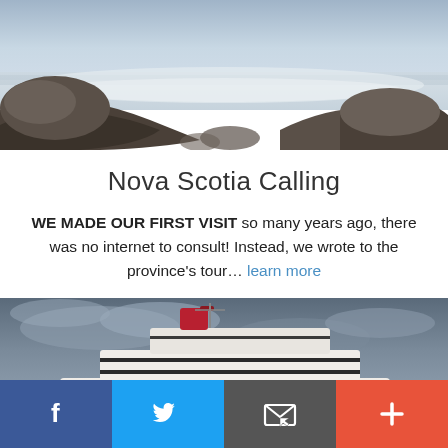[Figure (photo): Coastal rocky shoreline with misty water and large boulders, panoramic view]
Nova Scotia Calling
WE MADE OUR FIRST VISIT so many years ago, there was no internet to consult! Instead, we wrote to the province's tour… learn more
[Figure (photo): Large cruise ship at sea under dramatic cloudy sky, aerial/side view]
Social sharing bar with Facebook, Twitter, Email, and Plus buttons